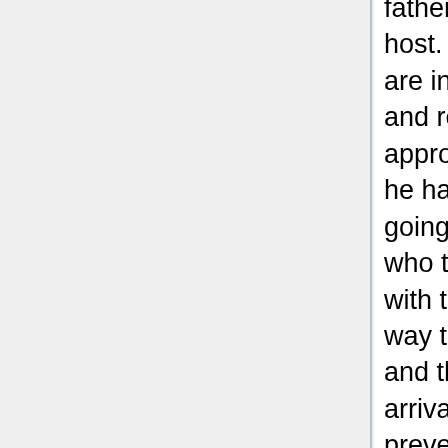father is Apophis, who plans to use the baby as his new host. Colonel Jack O'Neill and Capt. Samantha Carter are in Washington to receive a medal for their bravery and receive their own shocking news. O'Neill is approached by a reporter named Armin Selig who says he has the inside scoop on the Stargate program and is going to run the story. Carter is reunited with her father, who tells her he has cancer. As Carter and O'Neill deal with these large issues, Daniel and Teal'c try to find a way to get Sha're back to Earth before the child is born and the sleeping Goa'uld within her awakens. When the arrival of a ship carrying Apophis's enemy Heru'ur prevents them from returning through the Stargate, Teal'c devises a plan to use the rivalry between Apophis and Heru'ur to help them escape.